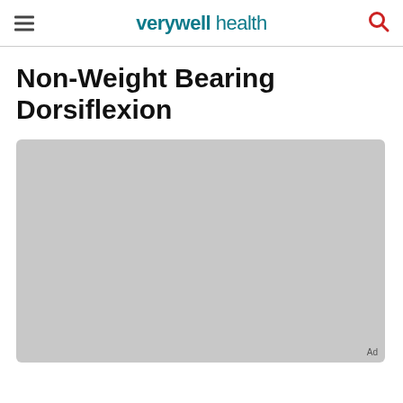verywell health
Non-Weight Bearing Dorsiflexion
[Figure (photo): Gray placeholder image for Non-Weight Bearing Dorsiflexion exercise photo]
Ad